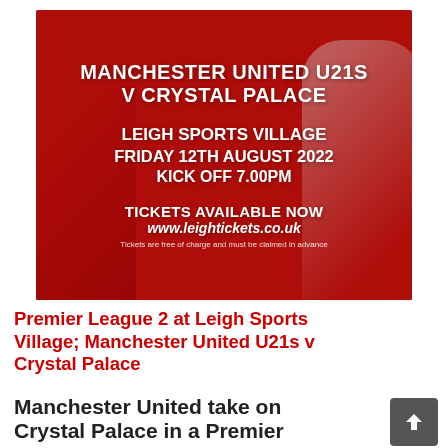[Figure (photo): Red promotional banner for Manchester United U21s v Crystal Palace match at Leigh Sports Village on Friday 12th August 2022, kick off 7.00pm. Text: TICKETS AVAILABLE NOW www.leightickets.co.uk. Two football players visible in background.]
Premier League 2 at Leigh Sports Village; Manchester United U21s v Crystal Palace
Manchester United take on Crystal Palace in a Premier